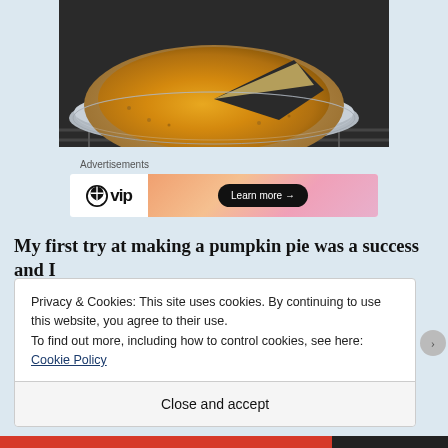[Figure (photo): A pumpkin pie in an aluminum foil pie tin, with one slice removed, sitting on a wire rack. The pie has a golden-brown filling and graham cracker crust.]
Advertisements
[Figure (other): WordPress VIP advertisement banner with gradient orange-pink background and 'Learn more →' button.]
My first try at making a pumpkin pie was a success and I
Privacy & Cookies: This site uses cookies. By continuing to use this website, you agree to their use.
To find out more, including how to control cookies, see here: Cookie Policy
Close and accept